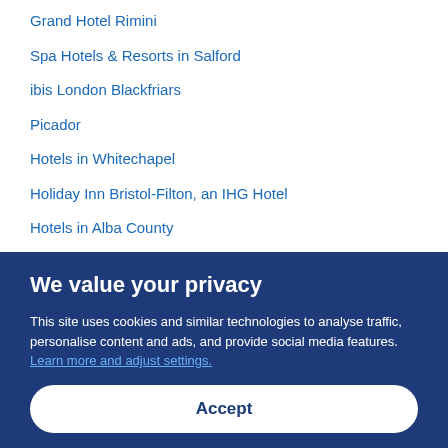Grand Hotel Rimini
Spa Hotels & Resorts in Salford
ibis London Blackfriars
Picador
Hotels in Whitechapel
Holiday Inn Bristol-Filton, an IHG Hotel
Hotels in Alba County
Relais Bellaria Hotel & Congressi
I Portici Hotel
Velvet Coaster Apartments
Caravan Parks South Korea
We value your privacy
This site uses cookies and similar technologies to analyse traffic, personalise content and ads, and provide social media features. Learn more and adjust settings.
Accept